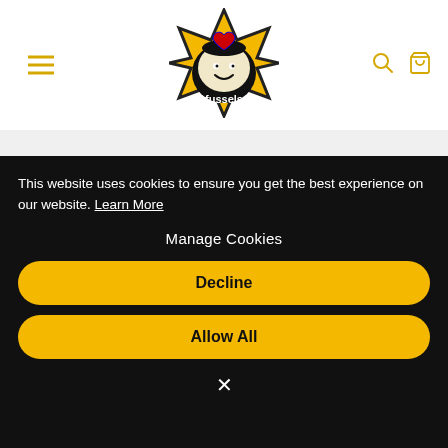fussels logo with hamburger menu, search and cart icons
Customer Reviews
[Figure (other): 4.5 out of 5 stars rating display (4 full gold stars and 1 half gold star)]
Based on 7 reviews
This website uses cookies to ensure you get the best experience on our website. Learn More

Manage Cookies

Decline

Allow All

×